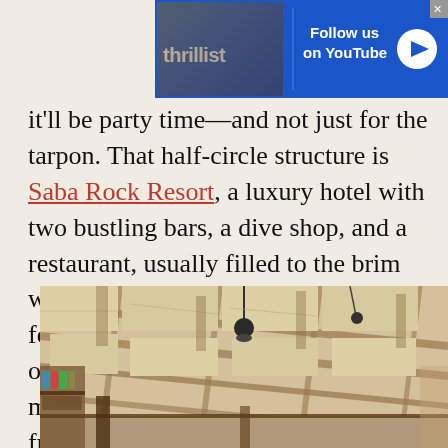[Figure (screenshot): Thrillist advertisement banner — 'Follow us on YouTube' with Thrillist logo on blue background, close button top right]
it'll be party time—and not just for the tarpon. That half-circle structure is Saba Rock Resort, a luxury hotel with two bustling bars, a dive shop, and a restaurant, usually filled to the brim with those who've floated up looking for a good time. They've taken a ferry or their boats are moored in the marina, dinghies tethered along the front. The main way to arrive is by water, but if you need a helipad, that's available too.
[Figure (photo): Interior photo of a resort or bar with wooden beam ceiling, pendant lights, shelving with books visible on left side]